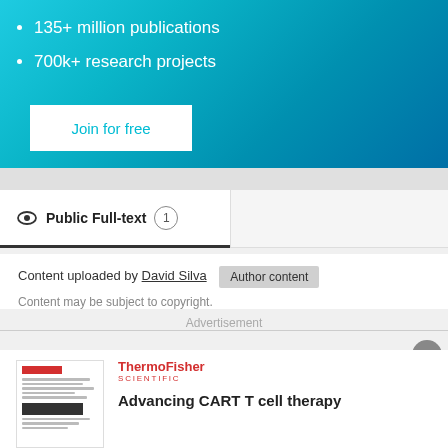135+ million publications
700k+ research projects
Join for free
Public Full-text 1
Content uploaded by David Silva  Author content
Content may be subject to copyright.
Advertisement
[Figure (illustration): Thumbnail of a scientific document with a red ThermoFisher bar at top and text lines below]
ThermoFisher SCIENTIFIC
Advancing CART T cell therapy